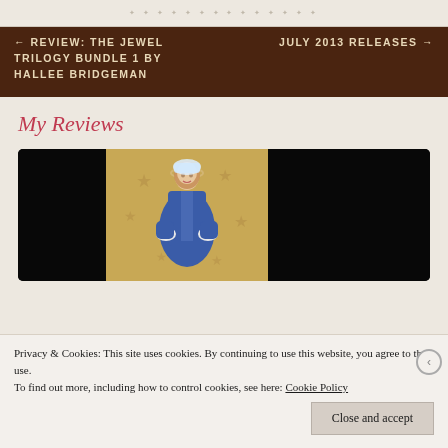decorative header pattern
← REVIEW: THE JEWEL TRILOGY BUNDLE 1 BY HALLEE BRIDGEMAN    JULY 2013 RELEASES →
My Reviews
[Figure (illustration): Book cover illustration showing a woman in a blue dress with a halo of stars on a golden/beige background, displayed in a dark frame/device]
Privacy & Cookies: This site uses cookies. By continuing to use this website, you agree to their use.
To find out more, including how to control cookies, see here: Cookie Policy
Close and accept